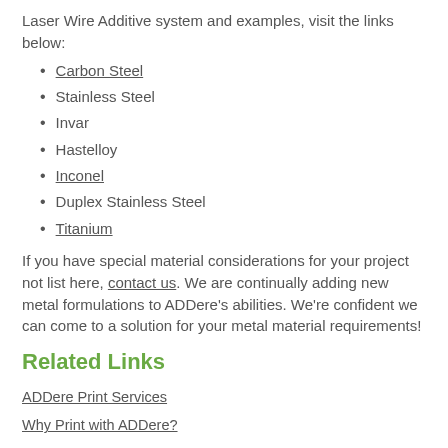Laser Wire Additive system and examples, visit the links below:
Carbon Steel
Stainless Steel
Invar
Hastelloy
Inconel
Duplex Stainless Steel
Titanium
If you have special material considerations for your project not list here, contact us. We are continually adding new metal formulations to ADDere's abilities. We're confident we can come to a solution for your metal material requirements!
Related Links
ADDere Print Services
Why Print with ADDere?